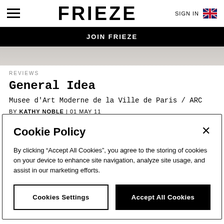FRIEZE | SIGN IN
JOIN FRIEZE
[Figure (photo): Partial article hero image in light grey tones]
REVIEWS
General Idea
Musee d'Art Moderne de la Ville de Paris / ARC
BY KATHY NOBLE | 01 MAY 11
Cookie Policy
By clicking “Accept All Cookies”, you agree to the storing of cookies on your device to enhance site navigation, analyze site usage, and assist in our marketing efforts.
Cookies Settings | Accept All Cookies